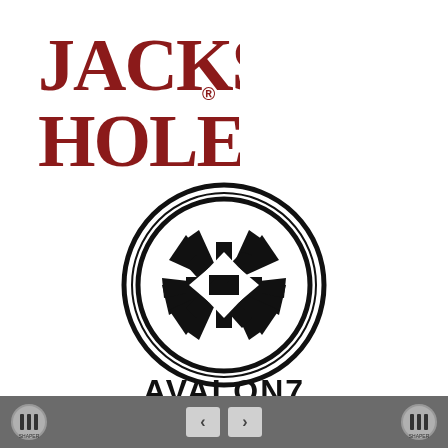[Figure (logo): Jackson Hole logo in dark red/maroon serif bold display font with registered trademark symbol]
[Figure (logo): Avalon7 logo: circular black emblem with geometric snowflake/pinwheel design and AVALON7 text below in bold black display font]
Navigation footer bar with Shaper app icons on left and right, and left/right arrow navigation buttons in center